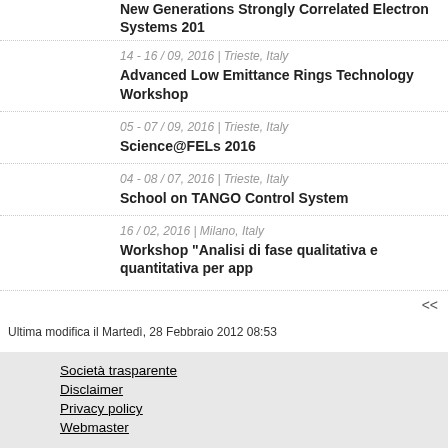New Generations Strongly Correlated Electron Systems 201...
14 - 16 / 09, 2016 | Trieste, Italy
Advanced Low Emittance Rings Technology Workshop
05 - 07 / 09, 2016 | Trieste, Italy
Science@FELs 2016
04 - 08 / 07, 2016 | Trieste, Italy
School on TANGO Control System
16 / 02, 2016 | Milano, Italy
Workshop "Analisi di fase qualitativa e quantitativa per app...
<<
Ultima modifica il Martedì, 28 Febbraio 2012 08:53
Società trasparente
Disclaimer
Privacy policy
Webmaster